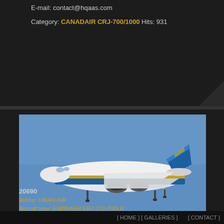E-mail: contact@hqaas.com
Category: CANADAIR CRJ-700/1000 Hits: 931
[Figure (photo): Oman Air Embraer ERJ-170-200LR aircraft in flight against blue sky, registration A4O-ED, white fuselage with blue and gold livery]
20690
Airline: OMAN AIR
Aircraft type: EMBRAER ERJ-170-200LR
c/n: 17000354
Registration: A4O-ED
Airport: Dubai(DXB)
Date: 18/11/2014
Remarks:
Photographer: Peter PSENICA
[ HOME ] [ GALLERIES ]   [ CONTACT ]